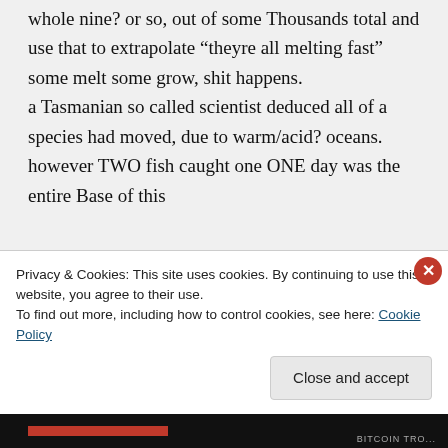whole nine? or so, out of some Thousands total and use that to extrapolate “theyre all melting fast” some melt some grow, shit happens.
a Tasmanian so called scientist deduced all of a species had moved, due to warm/acid? oceans. however TWO fish caught one ONE day was the entire Base of this
Privacy & Cookies: This site uses cookies. By continuing to use this website, you agree to their use.
To find out more, including how to control cookies, see here: Cookie Policy
Close and accept